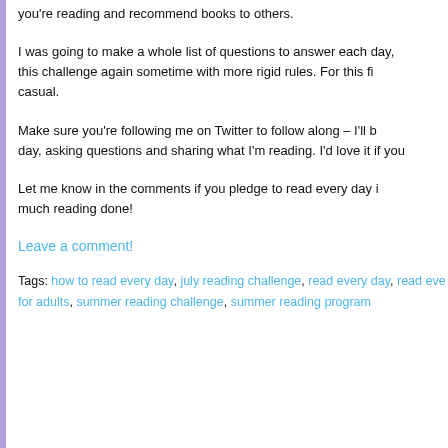you're reading and recommend books to others.
I was going to make a whole list of questions to answer each day, this challenge again sometime with more rigid rules. For this fi casual.
Make sure you're following me on Twitter to follow along – I'll b day, asking questions and sharing what I'm reading. I'd love it if you
Let me know in the comments if you pledge to read every day i much reading done!
Leave a comment!
Tags: how to read every day, july reading challenge, read every day, read eve for adults, summer reading challenge, summer reading program